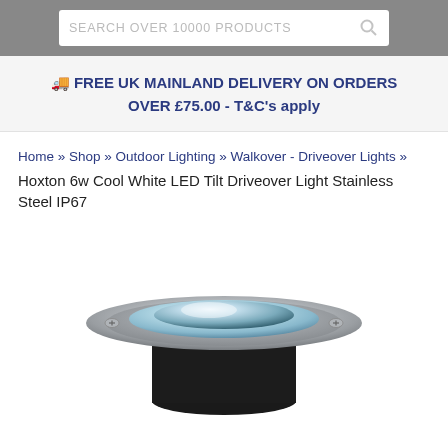SEARCH OVER 10000 PRODUCTS
🚚 FREE UK MAINLAND DELIVERY ON ORDERS OVER £75.00 - T&C's apply
Home » Shop » Outdoor Lighting » Walkover - Driveover Lights » Hoxton 6w Cool White LED Tilt Driveover Light Stainless Steel IP67
[Figure (photo): Hoxton 6w Cool White LED Tilt Driveover Light Stainless Steel IP67 - circular stainless steel ground light with glass lens and mounting screws]